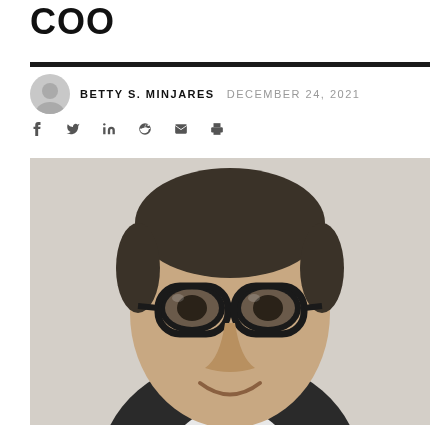COO
BETTY S. MINJARES   DECEMBER 24, 2021
[Figure (photo): Headshot of a middle-aged man with dark hair, wearing round black-framed glasses and a dark suit with white shirt, smiling, against a light beige background.]